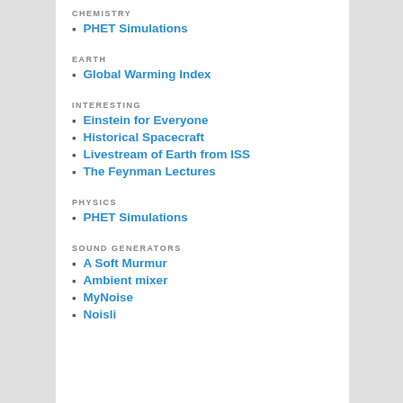CHEMISTRY
PHET Simulations
EARTH
Global Warming Index
INTERESTING
Einstein for Everyone
Historical Spacecraft
Livestream of Earth from ISS
The Feynman Lectures
PHYSICS
PHET Simulations
SOUND GENERATORS
A Soft Murmur
Ambient mixer
MyNoise
Noisli